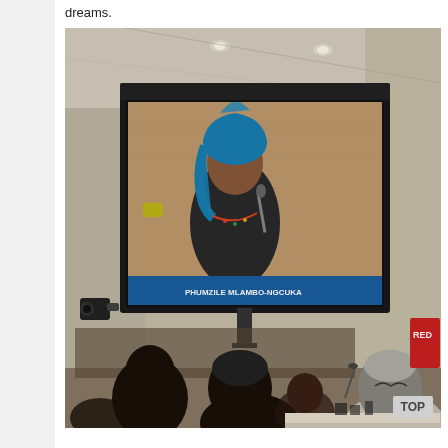dreams.
[Figure (photo): A photograph taken inside a conference room showing a large projection screen displaying a woman wearing a bright blue headwrap/head covering, speaking at a podium with a microphone at what appears to be a United Nations or similar international meeting. Audience members, mostly women of color, are visible in the foreground. The room has recessed ceiling lights and beige walls. A red sign is partially visible on the right side.]